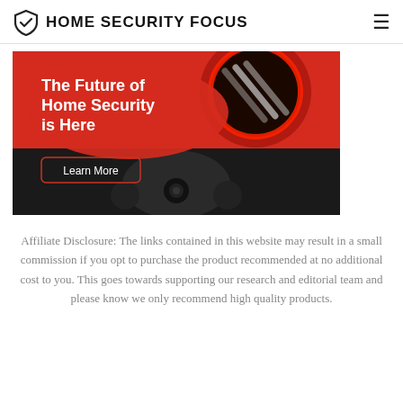HOME SECURITY FOCUS
[Figure (photo): Home security camera advertisement banner with red and black color scheme. Text reads 'The Future of Home Security is Here' with a 'Learn More' button overlay on a dark security camera product image.]
Affiliate Disclosure: The links contained in this website may result in a small commission if you opt to purchase the product recommended at no additional cost to you. This goes towards supporting our research and editorial team and please know we only recommend high quality products.